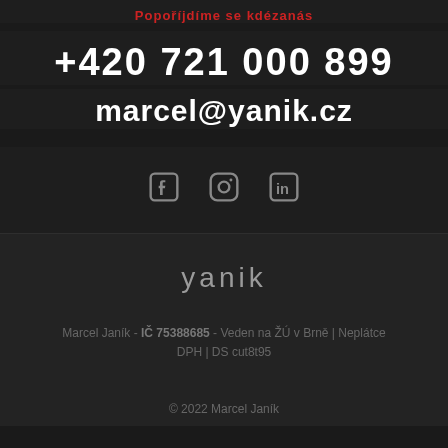Popoříjdíme se kdézanás
+420 721 000 899
marcel@yanik.cz
[Figure (illustration): Social media icons: Facebook, Instagram, LinkedIn]
yanik
Marcel Janík - IČ 75388685 - Veden na ŽÚ v Brně | Neplátce DPH | DS cut8t95
© 2022 Marcel Janík